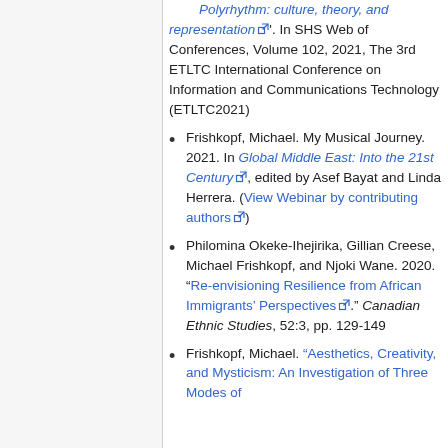Polyrhythm: culture, theory, and representation [link]. In SHS Web of Conferences, Volume 102, 2021, The 3rd ETLTC International Conference on Information and Communications Technology (ETLTC2021)
Frishkopf, Michael. My Musical Journey. 2021. In Global Middle East: Into the 21st Century [link], edited by Asef Bayat and Linda Herrera. (View Webinar by contributing authors [link])
Philomina Okeke-Ihejirika, Gillian Creese, Michael Frishkopf, and Njoki Wane. 2020. “Re-envisioning Resilience from African Immigrants’ Perspectives [link].” Canadian Ethnic Studies, 52:3, pp. 129-149
Frishkopf, Michael. “Aesthetics, Creativity, and Mysticism: An Investigation of Three Modes of